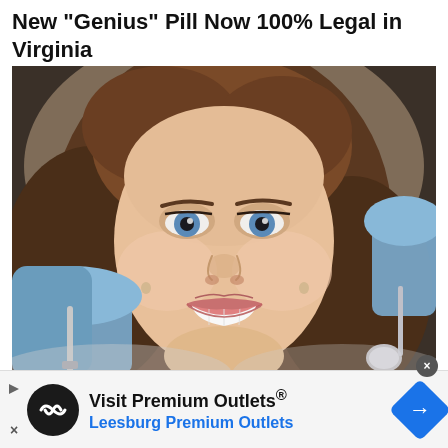New "Genius" Pill Now 100% Legal in Virginia
The Healthy Living Club
[Figure (photo): Close-up photo of a smiling young woman with blue eyes and light brown hair, at a dental office, with gloved hands holding dental instruments near her teeth]
Visit Premium Outlets® Leesburg Premium Outlets